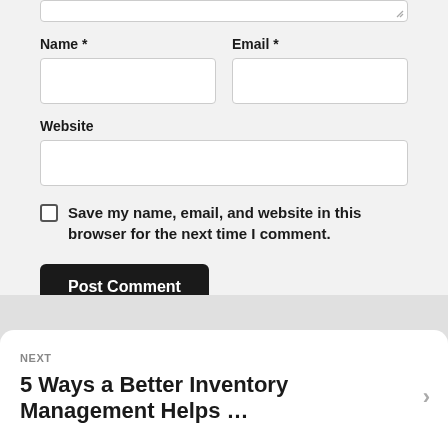Name *
Email *
Website
Save my name, email, and website in this browser for the next time I comment.
Post Comment
NEXT
5 Ways a Better Inventory Management Helps …